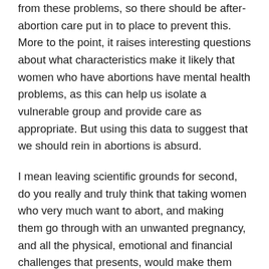from these problems, so there should be after-abortion care put in to place to prevent this. More to the point, it raises interesting questions about what characteristics make it likely that women who have abortions have mental health problems, as this can help us isolate a vulnerable group and provide care as appropriate. But using this data to suggest that we should rein in abortions is absurd.
I mean leaving scientific grounds for second, do you really and truly think that taking women who very much want to abort, and making them go through with an unwanted pregnancy, and all the physical, emotional and financial challenges that presents, would make them LESS likely to have mental health problems? This is where having common sense, and not being blinded by religious